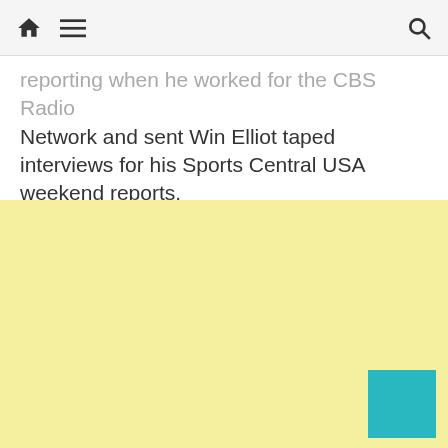[navigation bar with home icon, menu icon, and search icon]
reporting when he worked for the CBS Radio Network and sent Win Elliot taped interviews for his Sports Central USA weekend reports.
[Figure (other): Light yellow background area filling the lower two-thirds of the page, with a teal/cyan square button in the bottom-right corner.]